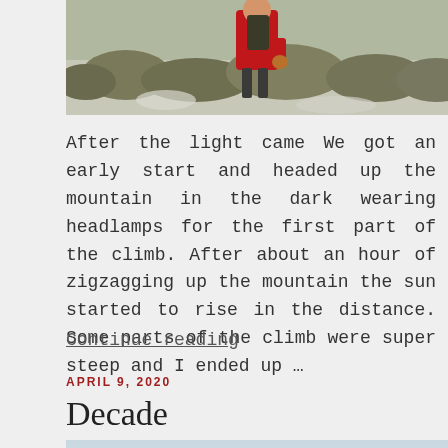[Figure (photo): Photo of a person in a red jacket on a snowy/wintry mountain landscape with shrubs, cropped at top]
After the light came We got an early start and headed up the mountain in the dark wearing headlamps for the first part of the climb. After about an hour of zigzagging up the mountain the sun started to rise in the distance. Some parts of the climb were super steep and I ended up …
Continue reading
APRIL 9, 2020
Decade
[Figure (photo): Partially visible photo with light blue-grey gradient sky, top portion of an outdoor scene]